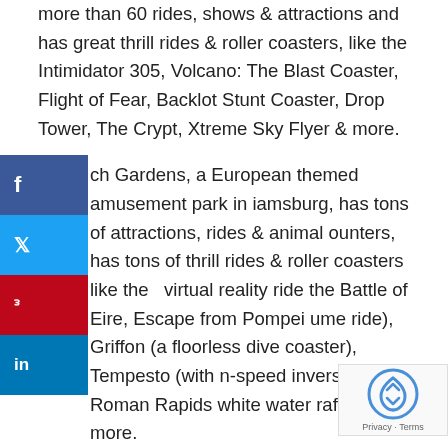more than 60 rides, shows & attractions and has great thrill rides & roller coasters, like the Intimidator 305, Volcano: The Blast Coaster, Flight of Fear, Backlot Stunt Coaster, Drop Tower, The Crypt, Xtreme Sky Flyer & more.
ch Gardens, a European themed amusement park in iamsburg, has tons of attractions, rides & animal ounters, has tons of thrill rides & roller coasters like the virtual reality ride the Battle of Eire, Escape from Pompei ume ride), Griffon (a floorless dive coaster), Tempesto (with n-speed inversions), Roman Rapids white water rafting & more.
The two theme parks are about an hour apart and if you are planning a family (or solo) trip to the Richmond/Williamsburg/Virginia Beach area, you can b these tickets along with a hotel through Reserve Williamsburg